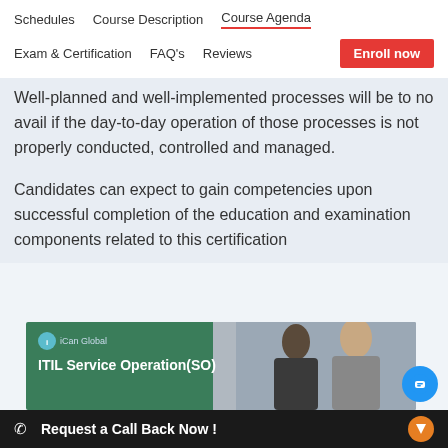Schedules  Course Description  Course Agenda  Exam & Certification  FAQ's  Reviews  Enroll now
Well-planned and well-implemented processes will be to no avail if the day-to-day operation of those processes is not properly conducted, controlled and managed.
Candidates can expect to gain competencies upon successful completion of the education and examination components related to this certification
[Figure (screenshot): Banner image showing iCan Global logo and ITIL Service Operation (SO) text on a green background with people in a meeting on the right side]
Request a Call Back Now !